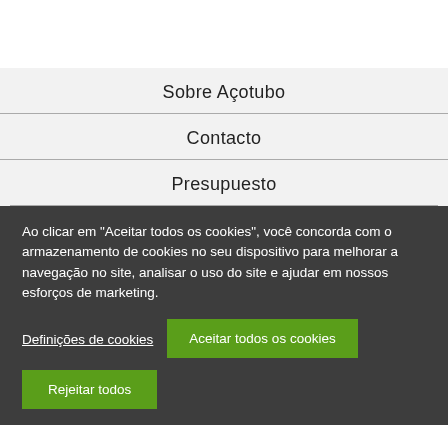Sobre Açotubo
Contacto
Presupuesto
Ao clicar em "Aceitar todos os cookies", você concorda com o armazenamento de cookies no seu dispositivo para melhorar a navegação no site, analisar o uso do site e ajudar em nossos esforços de marketing.
Definições de cookies
Aceitar todos os cookies
Rejeitar todos